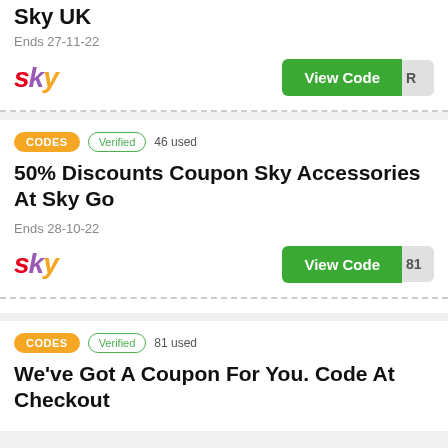Sky UK
Ends 27-11-22
[Figure (logo): Sky logo in red, purple, and orange italic text]
View Code | R
CODES  Verified  46 used
50% Discounts Coupon Sky Accessories At Sky Go
Ends 28-10-22
[Figure (logo): Sky logo in red, purple, and orange italic text]
View Code | 81
CODES  Verified  81 used
We've Got A Coupon For You. Code At Checkout